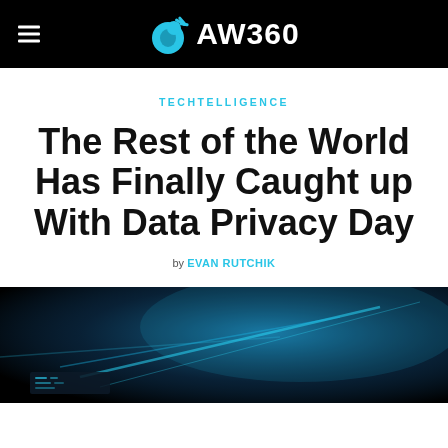AW360
TECHTELLIGENCE
The Rest of the World Has Finally Caught up With Data Privacy Day
by EVAN RUTCHIK
[Figure (photo): Dark abstract photo with blue glowing light streaks, suggesting technology or digital data]